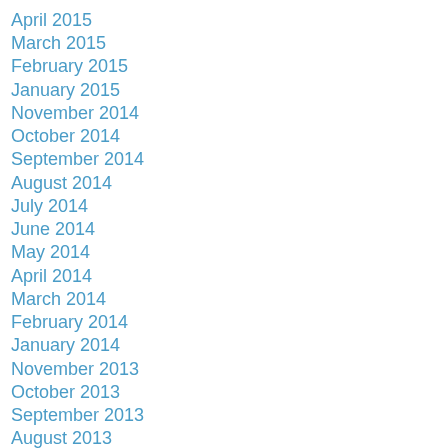April 2015
March 2015
February 2015
January 2015
November 2014
October 2014
September 2014
August 2014
July 2014
June 2014
May 2014
April 2014
March 2014
February 2014
January 2014
November 2013
October 2013
September 2013
August 2013
July 2013